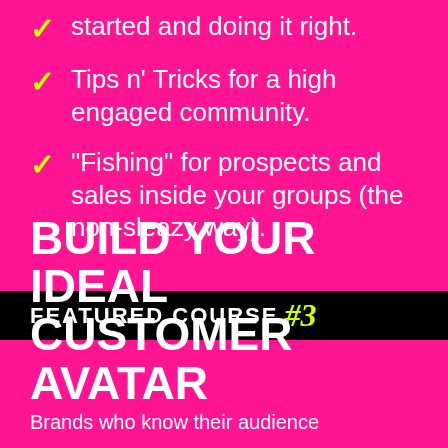started and doing it right.
Tips n’ Tricks for a high engaged community.
“Fishing” for prospects and sales inside your groups (the non-sleazy way).
FEATURED COURSE #3
BUILD YOUR IDEAL CUSTOMER AVATAR
Brands who know their audience